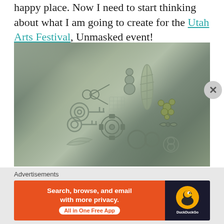happy place. Now I need to start thinking about what I am going to create for the Utah Arts Festival, Unmasked event!
[Figure (photo): A mixed-media relief artwork on a square panel showing various decorative metal elements including keys, scissors, gears, flowers, feathers, and circular embellishments arranged on a textured silver-green patinated background.]
Advertisements
[Figure (screenshot): DuckDuckGo advertisement banner: 'Search, browse, and email with more privacy. All in One Free App' on orange background with DuckDuckGo duck logo on dark background.]